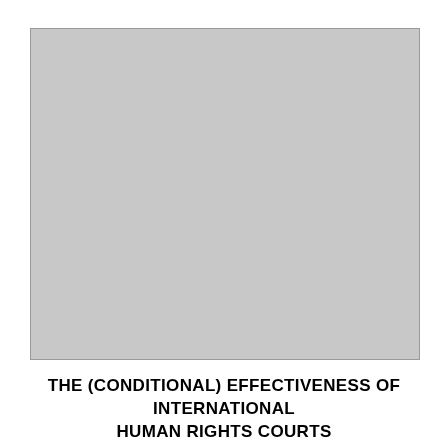[Figure (other): Large gray placeholder image representing a cover photo or illustration for the document about international human rights courts.]
THE (CONDITIONAL) EFFECTIVENESS OF INTERNATIONAL HUMAN RIGHTS COURTS